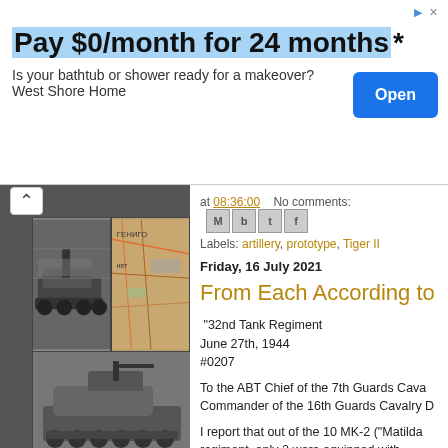[Figure (screenshot): Advertisement banner: Pay $0/month for 24 months* - West Shore Home, with Open button]
[Figure (photo): Left column collage of WWII tank photographs in black and white, plus a map image]
at 08:36:00    No comments:
Labels: artillery, prototype, Tiger II
Friday, 16 July 2021
From Each According to
"32nd Tank Regiment
June 27th, 1944
#0207

To the ABT Chief of the 7th Guards Cava[lry]
Commander of the 16th Guards Cavalry D[ivision]

I report that out of the 10 MK-2 ("Matilda[")
regiment, only 2 were equipped with [radios]
showed that the radios were "redistribu[ted]